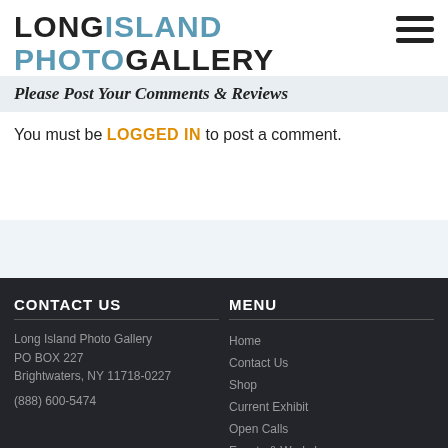LONG ISLAND PHOTO GALLERY
Please Post Your Comments & Reviews
You must be LOGGED IN to post a comment.
CONTACT US
Long Island Photo Gallery
PO BOX 227
Brightwaters, NY 11718-0227
(888) 600-5474
MENU
Home
Contact Us
Shop
Current Exhibit
Open Calls
Events & Workshops